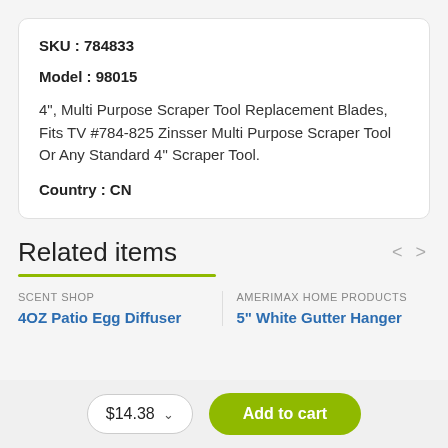SKU : 784833
Model : 98015
4", Multi Purpose Scraper Tool Replacement Blades, Fits TV #784-825 Zinsser Multi Purpose Scraper Tool Or Any Standard 4" Scraper Tool.
Country : CN
Related items
SCENT SHOP
4OZ Patio Egg Diffuser
AMERIMAX HOME PRODUCTS
5" White Gutter Hanger
$14.38
Add to cart